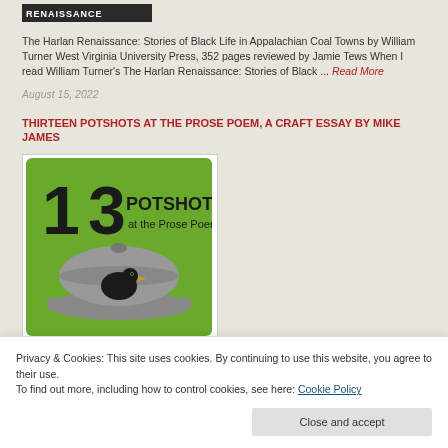[Figure (photo): Cropped image of book cover for The Harlan Renaissance, partially visible at top]
The Harlan Renaissance: Stories of Black Life in Appalachian Coal Towns by William Turner West Virginia University Press, 352 pages reviewed by Jamie Tews When I read William Turner's The Harlan Renaissance: Stories of Black ... Read More
August 15, 2022
THIRTEEN POTSHOTS AT THE PROSE POEM, a Craft Essay by Mike James
[Figure (illustration): Book cover for 13 Potshots at the Prose Poem showing a bird under a domed dish lid on a green background]
Privacy & Cookies: This site uses cookies. By continuing to use this website, you agree to their use.
To find out more, including how to control cookies, see here: Cookie Policy
Close and accept